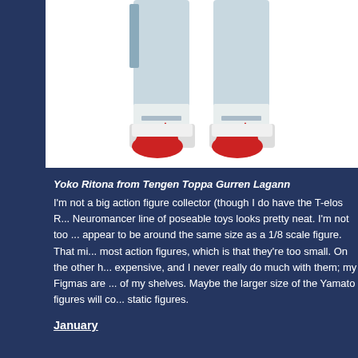[Figure (photo): Lower half/legs of a Yoko Ritona action figure from Tengen Toppa Gurren Lagann, showing white/light blue pants and red shoes with flame design, on white background]
Yoko Ritona from Tengen Toppa Gurren Lagann
I'm not a big action figure collector (though I do have the T-elos R... Neuromancer line of poseable toys looks pretty neat. I'm not too ... appear to be around the same size as a 1/8 scale figure. That mi... most action figures, which is that they're too small. On the other h... expensive, and I never really do much with them; my Figmas are ... of my shelves. Maybe the larger size of the Yamato figures will co... static figures.
January